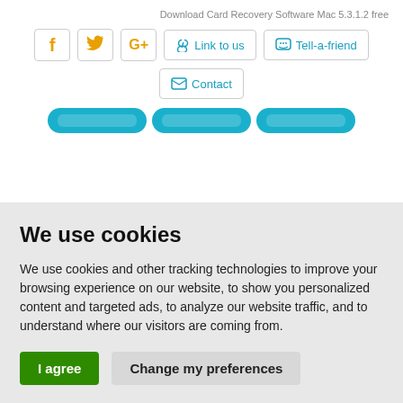Download Card Recovery Software Mac 5.3.1.2 free
[Figure (screenshot): Social sharing buttons: Facebook (f), Twitter (bird), Google+ (G+), Link to us, Tell-a-friend, Contact]
[Figure (screenshot): Three partially visible teal/cyan navigation tab buttons at the bottom of the white section]
We use cookies
We use cookies and other tracking technologies to improve your browsing experience on our website, to show you personalized content and targeted ads, to analyze our website traffic, and to understand where our visitors are coming from.
I agree   Change my preferences